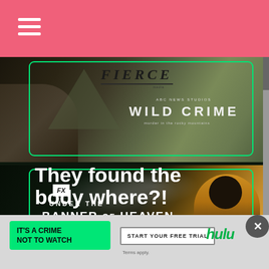Navigation bar with hamburger menu
[Figure (screenshot): Fierce podcast promotion banner for Wild Crime - murder in the Rocky Mountains, with green border overlay]
[Figure (screenshot): FX Under the Banner of Heaven TV show promotional banner with green border overlay]
They found the body where?!
IT'S A CRIME NOT TO WATCH
START YOUR FREE TRIAL
Terms apply.
hulu
[Figure (screenshot): Bottom Hulu advertisement bar: IT'S A CRIME NOT TO WATCH button, START YOUR FREE TRIAL button, Terms apply., hulu logo, and X close button]